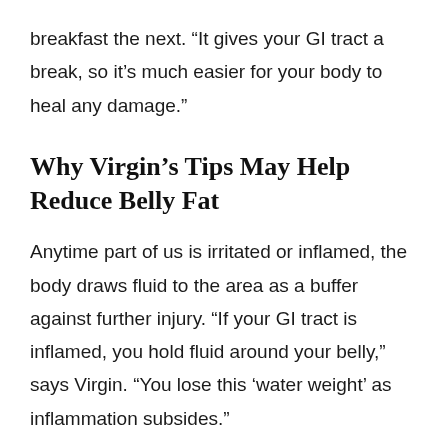breakfast the next. “It gives your GI tract a break, so it’s much easier for your body to heal any damage.”
Why Virgin’s Tips May Help Reduce Belly Fat
Anytime part of us is irritated or inflamed, the body draws fluid to the area as a buffer against further injury. “If your GI tract is inflamed, you hold fluid around your belly,” says Virgin. “You lose this ‘water weight’ as inflammation subsides.”